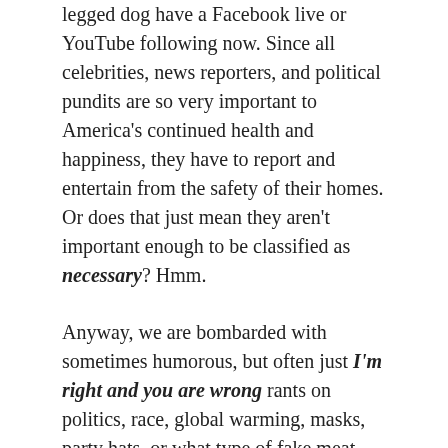legged dog have a Facebook live or YouTube following now. Since all celebrities, news reporters, and political pundits are so very important to America's continued health and happiness, they have to report and entertain from the safety of their homes. Or does that just mean they aren't important enough to be classified as necessary? Hmm.
Anyway, we are bombarded with sometimes humorous, but often just I'm right and you are wrong rants on politics, race, global warming, masks, party hats, or what type of fake meat goes best with kale. It's easy to get sucked in. You start to watch and an hour later you've seen so many clips of crazy nonsense you can't remember what